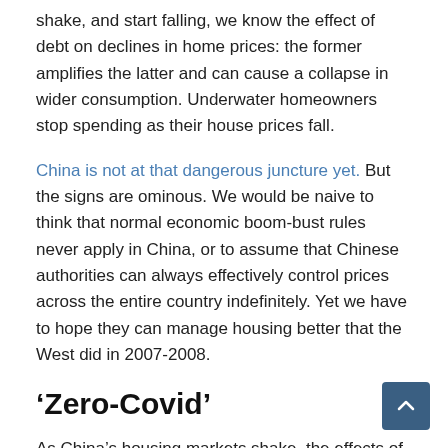shake, and start falling, we know the effect of debt on declines in home prices: the former amplifies the latter and can cause a collapse in wider consumption. Underwater homeowners stop spending as their house prices fall.
China is not at that dangerous juncture yet. But the signs are ominous. We would be naive to think that normal economic boom-bust rules never apply in China, or to assume that Chinese authorities can always effectively control prices across the entire country indefinitely. Yet we have to hope they can manage housing better that the West did in 2007-2008.
‘Zero-Covid’
As China’s housing markets shake, the effects of the pandemic policy are making economic matters worse.
China’s zero-Covid policy, by far the toughest medical and public health response to the pandemic anywhere, is in